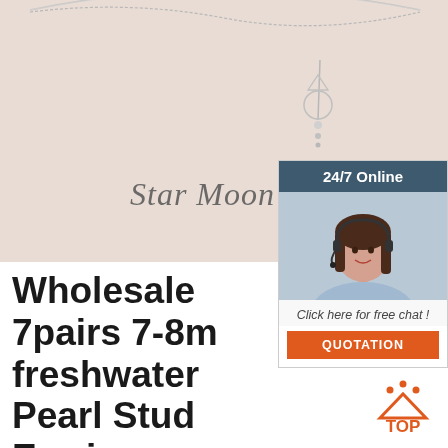[Figure (photo): Product photo of a silver star moon bracelet/necklace on a beige background with cursive text 'Star Moon Brac' partially visible]
[Figure (photo): Chat widget showing a customer service agent with headset, header '24/7 Online', link 'Click here for free chat!', and orange 'QUOTATION' button]
Wholesale 7pairs 7-8m freshwater Pearl Stud Earrings
Wholesale 7 Pairs 7-8mm Multi-Color Freshwater Pearl Gold-plated Stud Earrings. C $12.58. Free